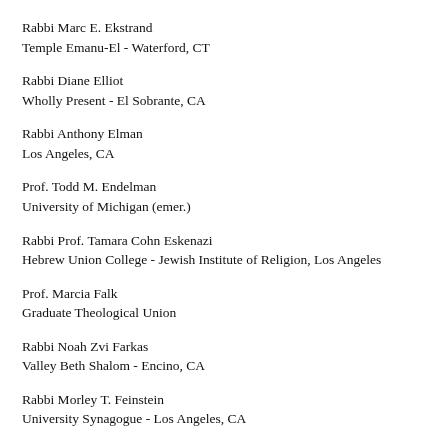Rabbi Marc E. Ekstrand
Temple Emanu-El - Waterford, CT
Rabbi Diane Elliot
Wholly Present - El Sobrante, CA
Rabbi Anthony Elman
Los Angeles, CA
Prof. Todd M. Endelman
University of Michigan (emer.)
Rabbi Prof. Tamara Cohn Eskenazi
Hebrew Union College - Jewish Institute of Religion, Los Angeles
Prof. Marcia Falk
Graduate Theological Union
Rabbi Noah Zvi Farkas
Valley Beth Shalom - Encino, CA
Rabbi Morley T. Feinstein
University Synagogue - Los Angeles, CA
Rabbi Arnold Feldman
Congregation Shaare Shamayim - Philadelphia, PA (emer.)